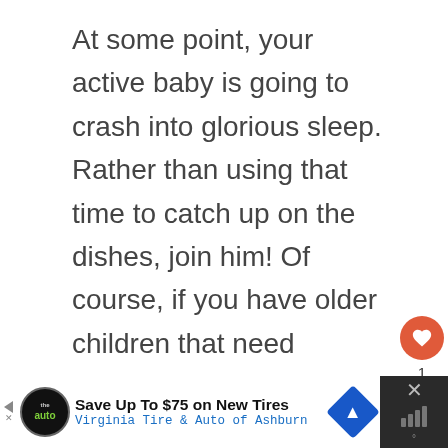At some point, your active baby is going to crash into glorious sleep. Rather than using that time to catch up on the dishes, join him! Of course, if you have older children that need supervision, this isn't always possible. Unless you institute family nap time! Even if you just rest your eyes for a power nap,
[Figure (screenshot): Social media sidebar with a heart/like button (red circle with white heart icon), a count of 1, and a share button (grey circle with share icon)]
[Figure (screenshot): Advertisement banner: 'Save Up To $75 on New Tires - Virginia Tire & Auto of Ashburn' with the auto brand logo and a navigation/directions arrow icon, plus a dark close panel on the right.]